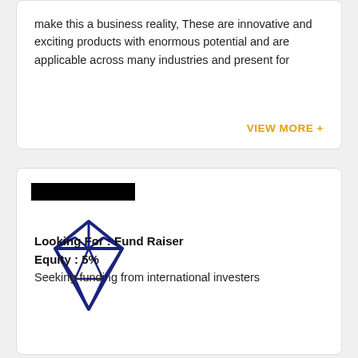make this a business reality, These are innovative and exciting products with enormous potential and are applicable across many industries and present for
VIEW MORE +
[Figure (illustration): Redacted black bar logo above a dark navy blue diamond gem outline icon]
Looking For : Fund Raiser
Equity : 5%
Seeking funding from international investers